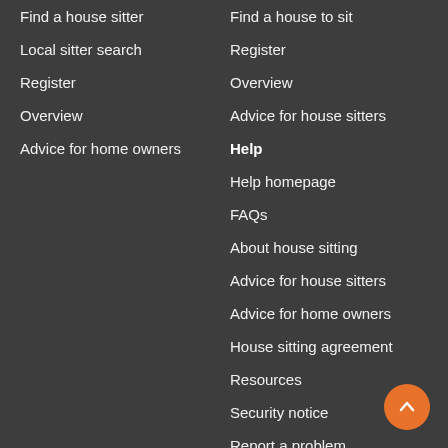Find a house sitter
Local sitter search
Register
Overview
Advice for home owners
Find a house to sit
Register
Overview
Advice for house sitters
Help
Help homepage
FAQs
About house sitting
Advice for house sitters
Advice for home owners
House sitting agreement
Resources
Security notice
Report a problem
Contact us